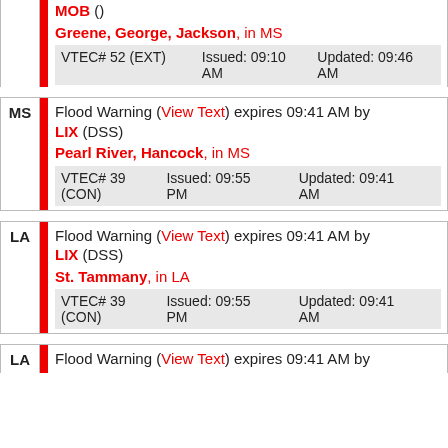MOB () Greene, George, Jackson, in MS VTEC# 52 (EXT) Issued: 09:10 AM Updated: 09:46 AM
MS Flood Warning (View Text) expires 09:41 AM by LIX (DSS) Pearl River, Hancock, in MS VTEC# 39 (CON) Issued: 09:55 PM Updated: 09:41 AM
LA Flood Warning (View Text) expires 09:41 AM by LIX (DSS) St. Tammany, in LA VTEC# 39 (CON) Issued: 09:55 PM Updated: 09:41 AM
LA Flood Warning (View Text) expires 09:41 AM by